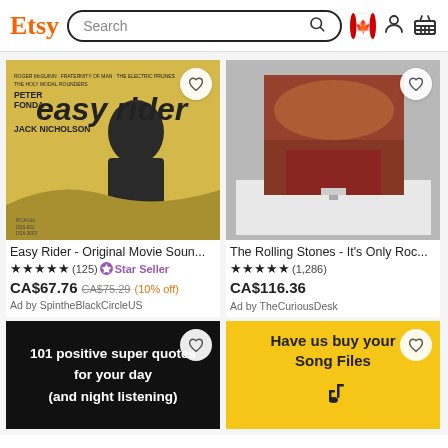Etsy Search
[Figure (screenshot): Easy Rider Original Movie Soundtrack vinyl album cover - yellow background with person silhouette]
Easy Rider - Original Movie Soun...
★★★★★ (125) ⭐ Star Seller
CA$67.76 CA$75.29 (10% off)
Ad by SpintheBlackCircleUS
[Figure (screenshot): The Rolling Stones It's Only Rock and Roll album displayed on stand]
The Rolling Stones - It's Only Roc...
★★★★★ (1,286)
CA$116.36
Ad by TheCuriousDesk
[Figure (illustration): Black background card with text: 101 positive super quotes for your day (and night listening)]
[Figure (illustration): Yellow background card with text: Have us buy your Song Files, with music note icon]